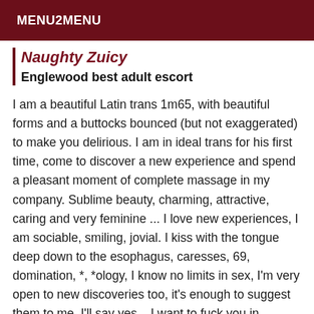MENU2MENU
Naughty Zuicy
Englewood best adult escort
I am a beautiful Latin trans 1m65, with beautiful forms and a buttocks bounced (but not exaggerated) to make you delirious. I am in ideal trans for his first time, come to discover a new experience and spend a pleasant moment of complete massage in my company. Sublime beauty, charming, attractive, caring and very feminine ... I love new experiences, I am sociable, smiling, jovial. I kiss with the tongue deep down to the esophagus, caresses, 69, domination, *, *ology, I know no limits in sex, I'm very open to new discoveries too, it's enough to suggest them to me, I'll say yes... I want to fuck you in several positions and especially using your body as a propeller and my cock as an axis. So come and embellish your daily life with a very good soothing massage, a magical moment of relaxation, well-being,